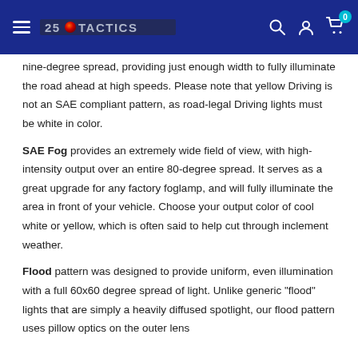25 Tactics — navigation header with logo, search, account, and cart icons
...nine-degree spread, providing just enough width to fully illuminate the road ahead at high speeds. Please note that yellow Driving is not an SAE compliant pattern, as road-legal Driving lights must be white in color.
SAE Fog provides an extremely wide field of view, with high-intensity output over an entire 80-degree spread. It serves as a great upgrade for any factory foglamp, and will fully illuminate the area in front of your vehicle. Choose your output color of cool white or yellow, which is often said to help cut through inclement weather.
Flood pattern was designed to provide uniform, even illumination with a full 60x60 degree spread of light. Unlike generic "flood" lights that are simply a heavily diffused spotlight, our flood pattern uses pillow optics on the outer lens...